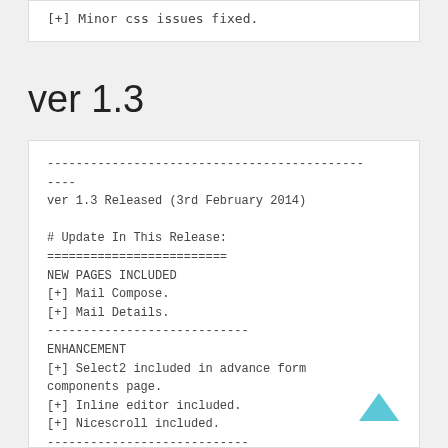[+] Minor css issues fixed.
ver 1.3
----------------------------------------------------
----
ver 1.3 Released (3rd February 2014)

# Update In This Release:
=========================
NEW PAGES INCLUDED
[+] Mail Compose.
[+] Mail Details.
----------------------------
ENHANCEMENT
[+] Select2 included in advance form components page.
[+] Inline editor included.
[+] Nicescroll included.
----------------------------